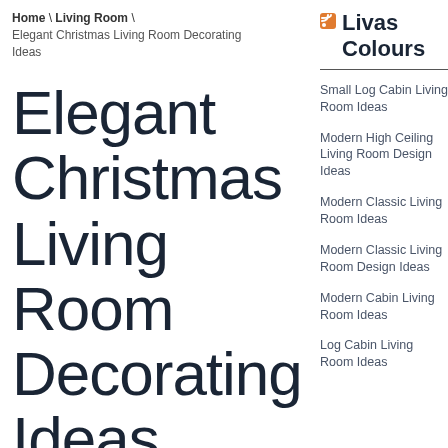Home \ Living Room \ Elegant Christmas Living Room Decorating Ideas
Elegant Christmas Living Room Decorating Ideas
Livas Colours
Small Log Cabin Living Room Ideas
Modern High Ceiling Living Room Design Ideas
Modern Classic Living Room Ideas
Modern Classic Living Room Design Ideas
Modern Cabin Living Room Ideas
Log Cabin Living Room Ideas